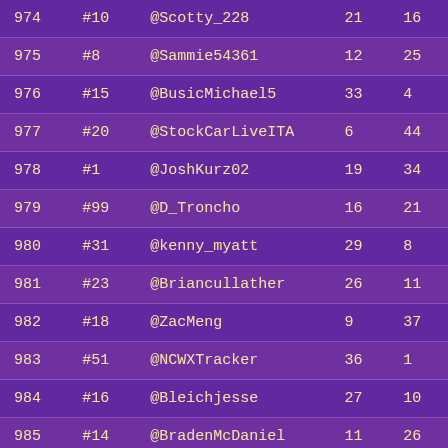| 974 | #10 | @Scotty_228 | 21 | 16 |
| 975 | #8 | @Sammie54361 | 12 | 25 |
| 976 | #15 | @BusicMichael5 | 33 | 4 |
| 977 | #20 | @StockCarLiveITA | 6 | 44 |
| 978 | #1 | @JoshKurz02 | 19 | 34 |
| 979 | #99 | @D_Troncho | 16 | 21 |
| 980 | #31 | @kenny_myatt | 29 | 8 |
| 981 | #23 | @Briancullather | 26 | 11 |
| 982 | #18 | @ZacMeng | 9 | 37 |
| 983 | #51 | @NCWXTracker | 36 | 1 |
| 984 | #16 | @Bleichjesse | 27 | 10 |
| 985 | #14 | @BradenMcDaniel | 11 | 26 |
| 986 | #23 | @fkubus91 | 26 | 11 |